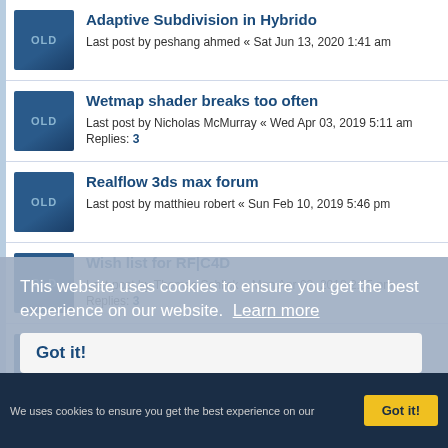Adaptive Subdivision in Hybrido
Last post by peshang ahmed « Sat Jun 13, 2020 1:41 am
Wetmap shader breaks too often
Last post by Nicholas McMurray « Wed Apr 03, 2019 5:11 am
Replies: 3
Realflow 3ds max forum
Last post by matthieu robert « Sun Feb 10, 2019 5:46 pm
Wish list for RF|C4D
Last post by Thomas Schlick « Mon Apr 02, 2018 2:35 pm
Replies: 3
Deamon Falloff
Last post by Scott Frizzle « Mon Mar 19, 2018 12:08 pm
Replies: 1
This website uses cookies to ensure you get the best experience on our website. Learn more
Got it!
We uses cookies to ensure you get the best experience on our